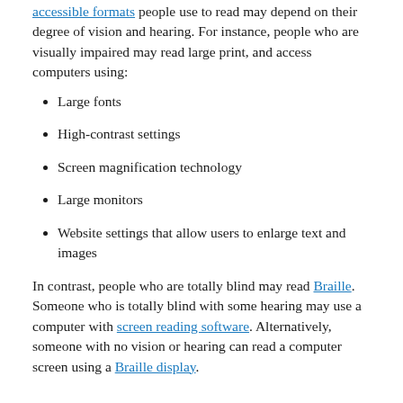accessible formats people use to read may depend on their degree of vision and hearing. For instance, people who are visually impaired may read large print, and access computers using:
Large fonts
High-contrast settings
Screen magnification technology
Large monitors
Website settings that allow users to enlarge text and images
In contrast, people who are totally blind may read Braille. Someone who is totally blind with some hearing may use a computer with screen reading software. Alternatively, someone with no vision or hearing can read a computer screen using a Braille display.